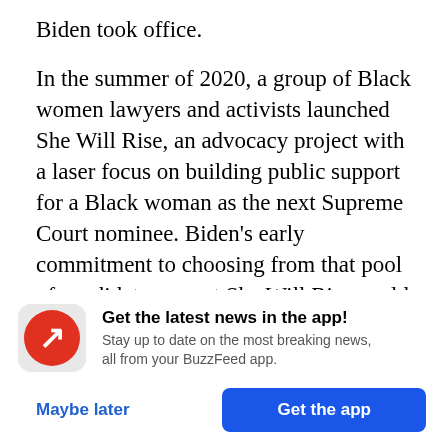Biden took office.
In the summer of 2020, a group of Black women lawyers and activists launched She Will Rise, an advocacy project with a laser focus on building public support for a Black woman as the next Supreme Court nominee. Biden’s early commitment to choosing from that pool of candidates meant She Will Rise could focus on a grassroots campaign from the start, said Brandi Colander, one of the founding members.
[Figure (logo): BuzzFeed app notification banner with red circular logo containing a white trending arrow, bold text 'Get the latest news in the app!', subtext 'Stay up to date on the most breaking news, all from your BuzzFeed app.', a 'Maybe later' link and a blue 'Get the app' button.]